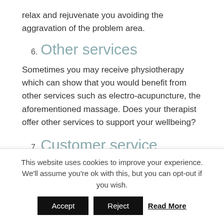relax and rejuvenate you avoiding the aggravation of the problem area.
6. Other services
Sometimes you may receive physiotherapy which can show that you would benefit from other services such as electro-acupuncture, the aforementioned massage. Does your therapist offer other services to support your wellbeing?
7. Customer service
A good physiotherapy clinic has a team who can facilitate customer support and great customer service, like helping
This website uses cookies to improve your experience. We'll assume you're ok with this, but you can opt-out if you wish.